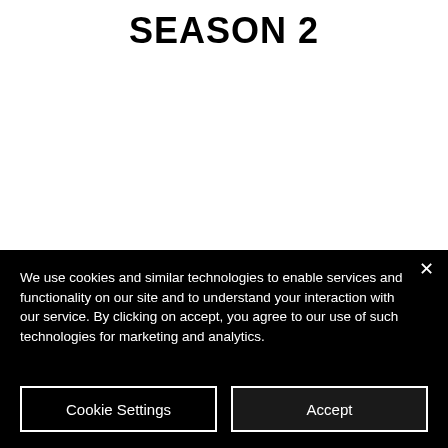SEASON 2
We use cookies and similar technologies to enable services and functionality on our site and to understand your interaction with our service. By clicking on accept, you agree to our use of such technologies for marketing and analytics.
Cookie Settings
Accept